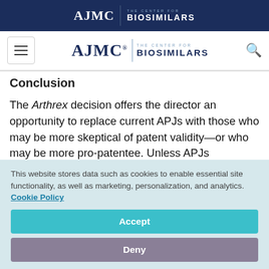AJMC | THE CENTER FOR BIOSIMILARS — top navigation banner
AJMC | THE CENTER FOR BIOSIMILARS — nav bar with hamburger menu and search icon
Conclusion
The Arthrex decision offers the director an opportunity to replace current APJs with those who may be more skeptical of patent validity—or who may be more pro-patentee. Unless APJs
This website stores data such as cookies to enable essential site functionality, as well as marketing, personalization, and analytics. Cookie Policy
Accept
Deny